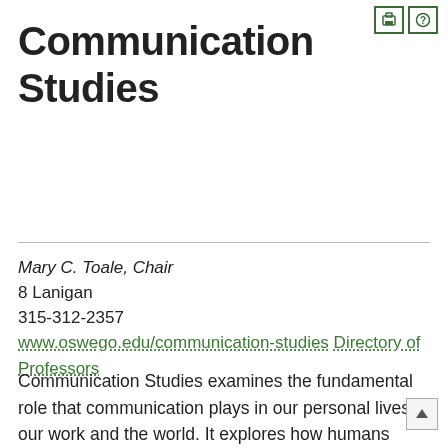Communication Studies
Mary C. Toale, Chair
8 Lanigan
315-312-2357
www.oswego.edu/communication-studies
Directory of Professors
Communication Studies examines the fundamental role that communication plays in our personal lives, our work and the world. It explores how humans interact with one another, how we exchange ideas and create messages. This includes examination of